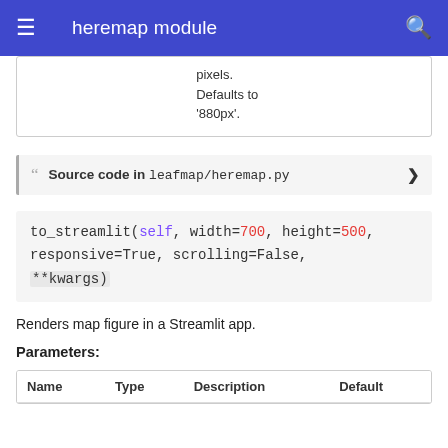heremap module
pixels. Defaults to '880px'.
Source code in leafmap/heremap.py
to_streamlit(self, width=700, height=500, responsive=True, scrolling=False, **kwargs)
Renders map figure in a Streamlit app.
Parameters:
| Name | Type | Description | Default |
| --- | --- | --- | --- |